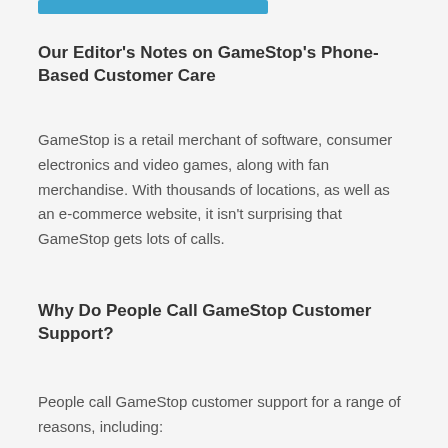[Figure (other): Blue horizontal bar/button at the top of the page]
Our Editor's Notes on GameStop's Phone-Based Customer Care
GameStop is a retail merchant of software, consumer electronics and video games, along with fan merchandise. With thousands of locations, as well as an e-commerce website, it isn't surprising that GameStop gets lots of calls.
Why Do People Call GameStop Customer Support?
People call GameStop customer support for a range of reasons, including: